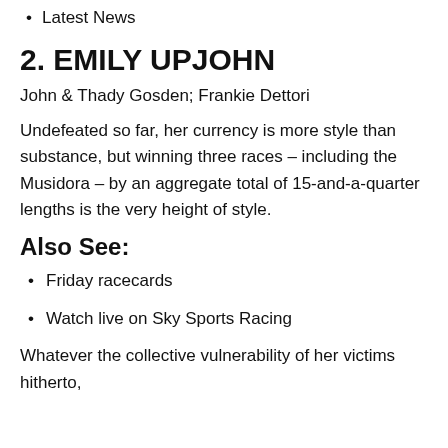Latest News
2. EMILY UPJOHN
John & Thady Gosden; Frankie Dettori
Undefeated so far, her currency is more style than substance, but winning three races – including the Musidora – by an aggregate total of 15-and-a-quarter lengths is the very height of style.
Also See:
Friday racecards
Watch live on Sky Sports Racing
Whatever the collective vulnerability of her victims hitherto,